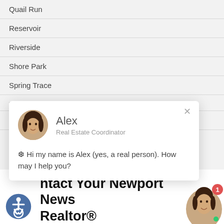Quail Run
Reservoir
Riverside
Shore Park
Spring Trace
[Figure (screenshot): Chat popup with agent Alex, Real Estate Coordinator, saying 'Hi my name is Alex (yes, a real person). How may I help you?']
Watkins
Woodland
Yates
Contact Your Newport News Realtor®